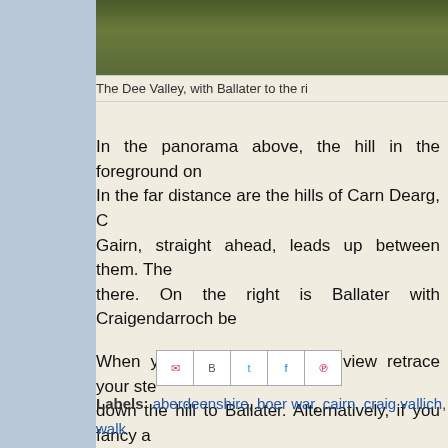[Figure (photo): Partial photograph of a hillside landscape, the Dee Valley area]
The Dee Valley, with Ballater to the ri
In the panorama above, the hill in the foreground on... In the far distance are the hills of Carn Dearg, C... Gairn, straight ahead, leads up between them. The... there. On the right is Ballater with Craigendarroch be...
When you have taken in the view retrace your ste... down the hill to Ballater. Alternatively, if you fancy a... the top of Craig Vallich, but that is for another walk.
For now, congratulations, you have completed the w...
Labels: aberdeenshire, boer war, cairn, craig vallich, deeside, go... walk